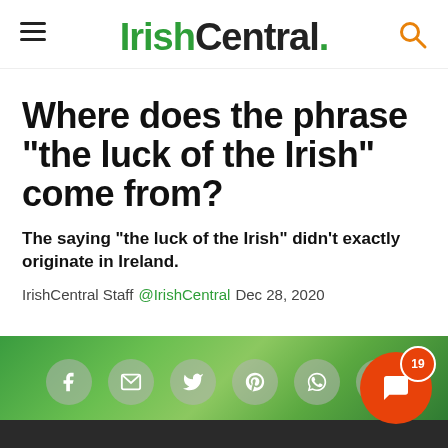IrishCentral.
Where does the phrase “the luck of the Irish” come from?
The saying "the luck of the Irish" didn't exactly originate in Ireland.
IrishCentral Staff @IrishCentral Dec 28, 2020
[Figure (screenshot): Green blurred background social sharing bar with circular buttons for Facebook, email, Twitter, Pinterest, WhatsApp, and a plus button. Orange chat button with badge showing 19.]